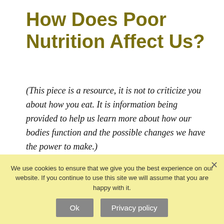How Does Poor Nutrition Affect Us?
(This piece is a resource, it is not to criticize you about how you eat. It is information being provided to help us learn more about how our bodies function and the possible changes we have the power to make.)
Good nutrition, we hear about it from time to time. We may have had a class about it in school. For many people what is behind good nutrition, or what poor nutrition can do, never crosses their minds. "Having the time" to eat well seems to be the biggest
We use cookies to ensure that we give you the best experience on our website. If you continue to use this site we will assume that you are happy with it.